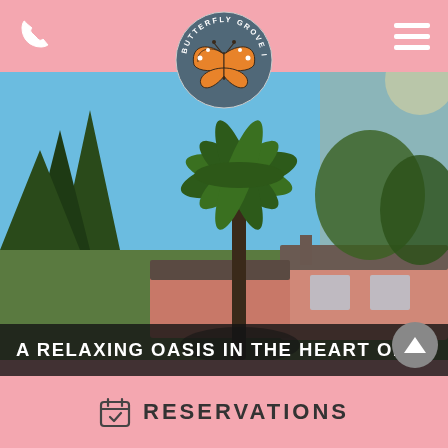[Figure (logo): Butterfly Grove Inn circular logo with monarch butterfly in center and text around the circle]
[Figure (photo): Outdoor photo of Butterfly Grove Inn showing a pink building with palm tree and surrounding trees against a blue sky]
A RELAXING OASIS IN THE HEART OF
RESERVATIONS